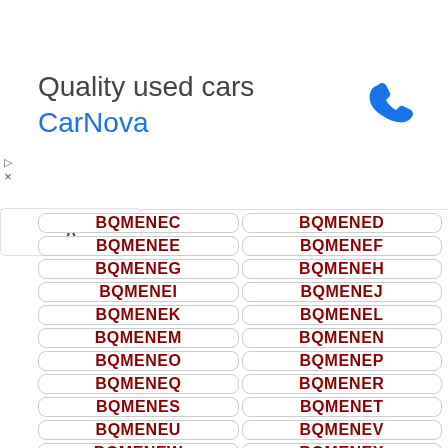[Figure (screenshot): Advertisement banner for CarNova quality used cars with phone icon]
BQMENEC
BQMENED
BQMENEE
BQMENEF
BQMENEG
BQMENEH
BQMENEI
BQMENEJ
BQMENEK
BQMENEL
BQMENEM
BQMENEN
BQMENEO
BQMENEP
BQMENEQ
BQMENER
BQMENES
BQMENET
BQMENEU
BQMENEV
BQMENEW
BQMENEX
BQMENEY
BQMENEZ